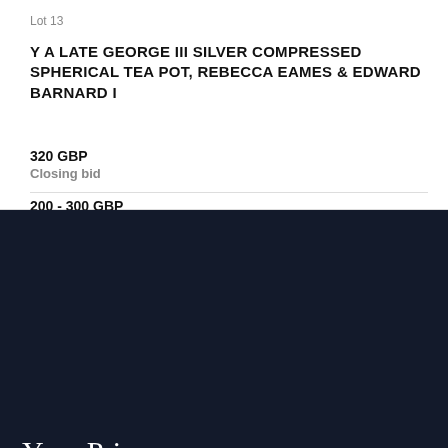Lot 13
Y A LATE GEORGE III SILVER COMPRESSED SPHERICAL TEA POT, REBECCA EAMES & EDWARD BARNARD I
320 GBP
Closing bid
200 - 300 GBP
Your Privacy
We use cookies to improve your experience, to analyse traffic and to show you relevant Dreweatts advertising. Should you not accept the use of cookies but choose to continue using the website your consent is implied to the use of cookies that are used for data analytical purposes. More information.
OK